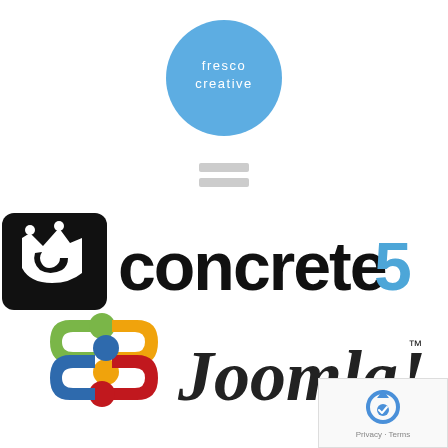[Figure (logo): Fresco Creative circular logo — blue circle with white text 'fresco creative' in lowercase]
[Figure (other): Gray equals/menu icon with two horizontal bars]
[Figure (logo): Concrete5 CMS logo — black square with stylized C icon on left, bold black text 'concrete' and blue '5' on right]
[Figure (logo): Joomla! CMS logo — colorful boomerang/puzzle symbol in green, orange, red, blue, with black italic text 'Joomla!' and TM mark]
[Figure (other): Google reCAPTCHA widget with blue arrow icon and 'Privacy - Terms' text]